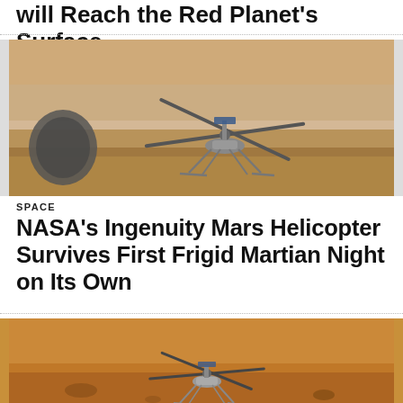will Reach the Red Planet's Surface
[Figure (photo): NASA Ingenuity Mars helicopter on the Martian surface, reddish-brown sandy terrain, close-up ground-level view with rover wheel visible]
SPACE
NASA's Ingenuity Mars Helicopter Survives First Frigid Martian Night on Its Own
[Figure (photo): NASA Ingenuity Mars helicopter standing on the Martian surface, orange rocky terrain, wider shot showing the helicopter's legs and rotor blades]
1.  NASA ROCKET LAUNCH
2.  END OF SEASON FLIGHT DEALS
Ad | Cellphone Guru